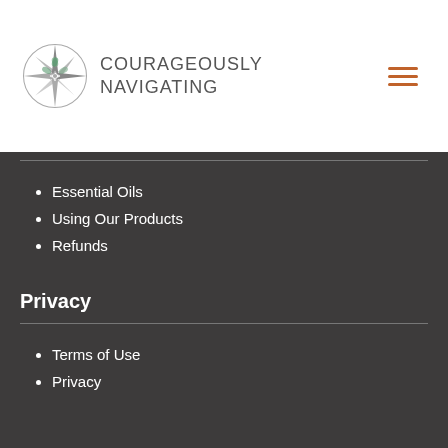[Figure (logo): Courageously Navigating logo with compass rose and text]
Essential Oils
Using Our Products
Refunds
Privacy
Terms of Use
Privacy